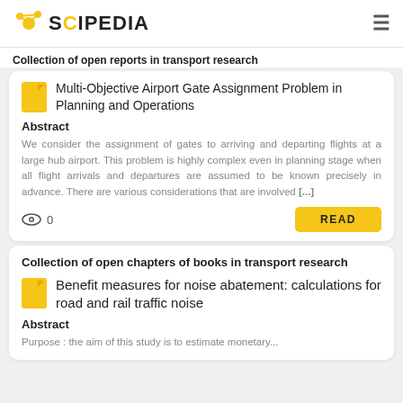SCIPEDIA
Collection of open reports in transport research
Multi-Objective Airport Gate Assignment Problem in Planning and Operations
Abstract
We consider the assignment of gates to arriving and departing flights at a large hub airport. This problem is highly complex even in planning stage when all flight arrivals and departures are assumed to be known precisely in advance. There are various considerations that are involved [...]
0
READ
Collection of open chapters of books in transport research
Benefit measures for noise abatement: calculations for road and rail traffic noise
Abstract
Purpose : the aim of this study is to estimate monetary...